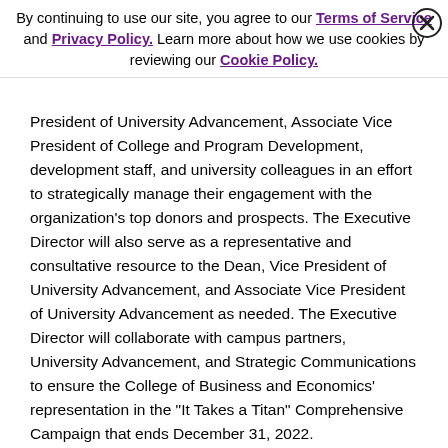By continuing to use our site, you agree to our Terms of Service and Privacy Policy. Learn more about how we use cookies by reviewing our Cookie Policy.
President of University Advancement, Associate Vice President of College and Program Development, development staff, and university colleagues in an effort to strategically manage their engagement with the organization's top donors and prospects. The Executive Director will also serve as a representative and consultative resource to the Dean, Vice President of University Advancement, and Associate Vice President of University Advancement as needed. The Executive Director will collaborate with campus partners, University Advancement, and Strategic Communications to ensure the College of Business and Economics' representation in the "It Takes a Titan" Comprehensive Campaign that ends December 31, 2022.
The Executive Director regularly partners with the Senior Director of Planned Giving in the identification, cultivation, and solicitation of planned giving prospects.